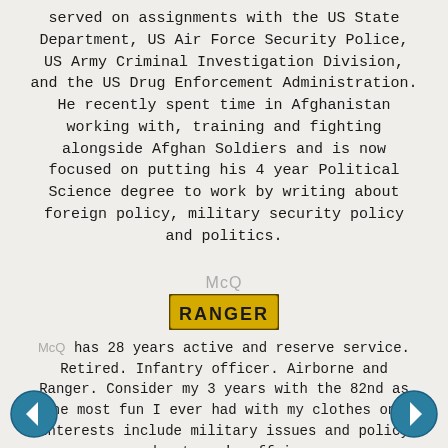served on assignments with the US State Department, US Air Force Security Police, US Army Criminal Investigation Division, and the US Drug Enforcement Administration. He recently spent time in Afghanistan working with, training and fighting alongside Afghan Soldiers and is now focused on putting his 4 year Political Science degree to work by writing about foreign policy, military security policy and politics.
McQ
[Figure (illustration): RANGER tab badge - gold/yellow background with black arched text reading RANGER]
McQ has 28 years active and reserve service. Retired. Infantry officer. Airborne and Ranger. Consider my 3 years with the 82nd as the most fun I ever had with my clothes on. Interests include military issues and policy and veteran's affairs. Email: mcq51 -at - bellsouth -dot- net
[Figure (illustration): Left navigation arrow button (teal circle with white left arrow)]
[Figure (illustration): Right navigation arrow button (teal circle with white right arrow)]